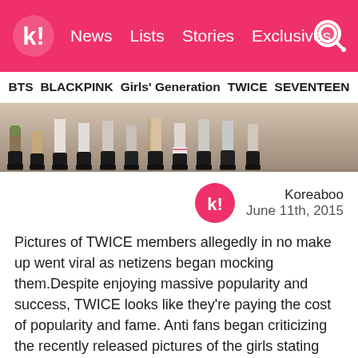K! News Lists Stories Exclusives
BTS BLACKPINK Girls' Generation TWICE SEVENTEEN
[Figure (photo): Cropped photo showing the legs and feet of multiple TWICE group members wearing black ankle boots and various patterned outfits, arranged in a row.]
Koreaboo
June 11th, 2015
Pictures of TWICE members allegedly in no make up went viral as netizens began mocking them.Despite enjoying massive popularity and success, TWICE looks like they're paying the cost of popularity and fame. Anti fans began criticizing the recently released pictures of the girls stating that the girl were still wearing make up but looked ugly.